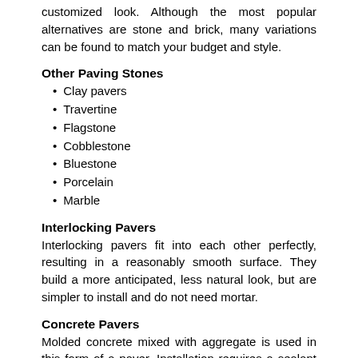customized look. Although the most popular alternatives are stone and brick, many variations can be found to match your budget and style.
Other Paving Stones
Clay pavers
Travertine
Flagstone
Cobblestone
Bluestone
Porcelain
Marble
Interlocking Pavers
Interlocking pavers fit into each other perfectly, resulting in a reasonably smooth surface. They build a more anticipated, less natural look, but are simpler to install and do not need mortar.
Concrete Pavers
Molded concrete mixed with aggregate is used in this form of a paver. Installation requires a sealant to prevent moisture from entering and preserving the color of the porous material.
Pavers vs. Concrete Cost Per Square Foot